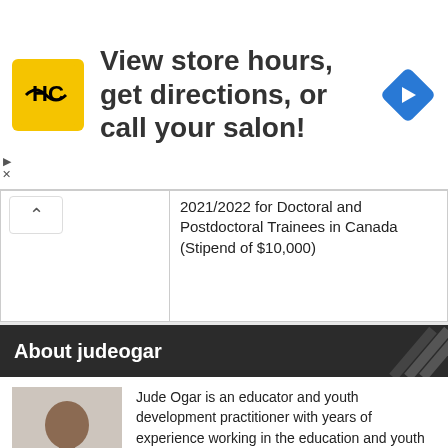[Figure (infographic): Advertisement banner: HC logo (yellow square), text 'View store hours, get directions, or call your salon!', blue diamond navigation icon]
|  | 2021/2022 for Doctoral and Postdoctoral Trainees in Canada (Stipend of $10,000) |
About judeogar
[Figure (photo): Portrait photo of Jude Ogar, a young man wearing a green shirt]
Jude Ogar is an educator and youth development practitioner with years of experience working in the education and youth development space. He is passionate about the development of youth in Africa.
Author Posts